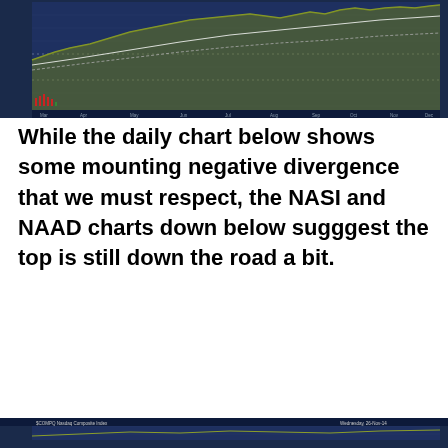[Figure (continuous-plot): Multi-panel financial chart showing NASDAQ Composite price (top panel with candlestick/area chart in olive/green), oscillator indicator (middle panel with wavy line), and another indicator (bottom panel with line). X-axis shows dates from March through November. Dark navy background with white/gray grid lines.]
While the daily chart below shows some mounting negative divergence that we must respect, the NASI and NAAD charts down below sugggest the top is still down the road a bit.
[Figure (continuous-plot): Partial view of another financial chart at the bottom of the page, showing NASDAQ Composite daily chart header with date information.]